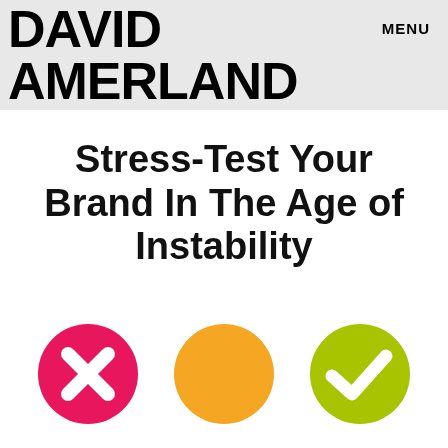DAVID AMERLAND   MENU
Stress-Test Your Brand In The Age of Instability
[Figure (illustration): Three circles in a row: a pink/magenta circle with a white X (cross) mark, an orange circle (plain), and a yellow-green circle with a white checkmark.]